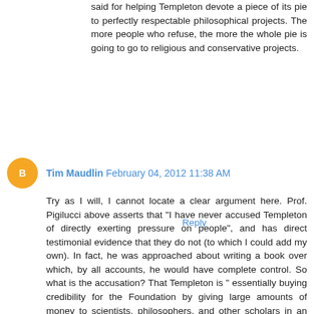said for helping Templeton devote a piece of its pie to perfectly respectable philosophical projects. The more people who refuse, the more the whole pie is going to go to religious and conservative projects.
Reply
Tim Maudlin  February 04, 2012 11:38 AM
Try as I will, I cannot locate a clear argument here. Prof. Pigilucci above asserts that "I have never accused Templeton of directly exerting pressure on people", and has direct testimonial evidence that they do not (to which I could add my own). In fact, he was approached about writing a book over which, by all accounts, he would have complete control. So what is the accusation? That Templeton is " essentially buying credibility for the Foundation by giving large amounts of money to scientists, philosophers, and other scholars in an environment in which funding for research is increasingly scarce and competitive". But what is the distinction between "buying credibility" and deserving credibility by supporting a rather wide variety of research and not interfering with it? Of